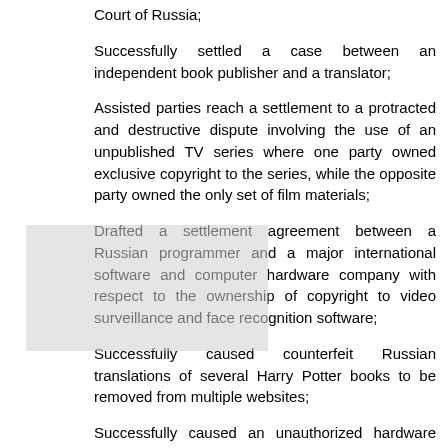Court of Russia;
Successfully settled a case between an independent book publisher and a translator;
Assisted parties reach a settlement to a protracted and destructive dispute involving the use of an unpublished TV series where one party owned exclusive copyright to the series, while the opposite party owned the only set of film materials;
Drafted a settlement agreement between a Russian programmer and a major international software and computer hardware company with respect to the ownership of copyright to video surveillance and face recognition software;
Successfully caused counterfeit Russian translations of several Harry Potter books to be removed from multiple websites;
Successfully caused an unauthorized hardware compatibility patch for a major operating system to be urgently removed from a popular website;